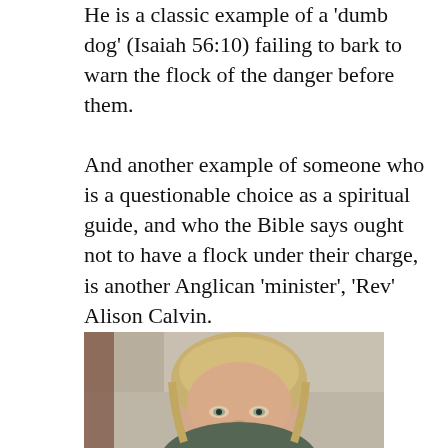He is a classic example of a 'dumb dog' (Isaiah 56:10) failing to bark to warn the flock of the danger before them.
And another example of someone who is a questionable choice as a spiritual guide, and who the Bible says ought not to have a flock under their charge, is another Anglican 'minister', 'Rev' Alison Calvin.
[Figure (photo): Portrait photo of a woman with blonde/light brown hair, appearing to be middle-aged, photographed outdoors against a stone or concrete background.]